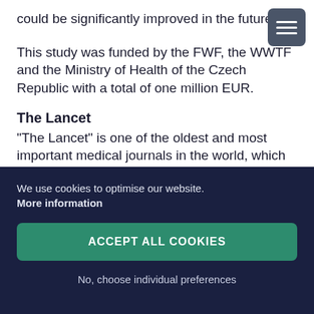could be significantly improved in the future.
This study was funded by the FWF, the WWTF and the Ministry of Health of the Czech Republic with a total of one million EUR.
The Lancet
“The Lancet” is one of the oldest and most important medical journals in the world, which has the submitted articles reviewed by experts in their respective fields. The magazine is published weekly
We use cookies to optimise our website.
More information
ACCEPT ALL COOKIES
No, choose individual preferences